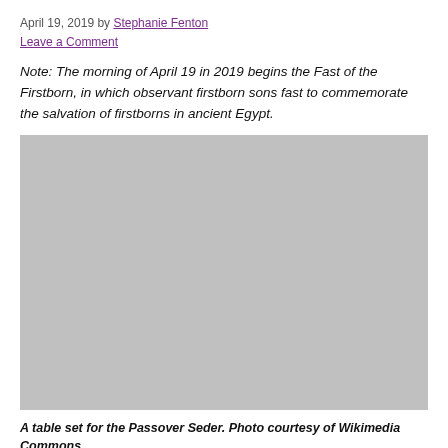April 19, 2019 by Stephanie Fenton
Leave a Comment
Note: The morning of April 19 in 2019 begins the Fast of the Firstborn, in which observant firstborn sons fast to commemorate the salvation of firstborns in ancient Egypt.
[Figure (photo): A gray placeholder rectangle representing a photo of a table set for the Passover Seder.]
A table set for the Passover Seder. Photo courtesy of Wikimedia Commons